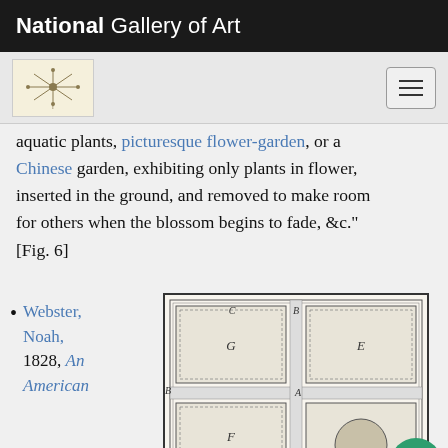National Gallery of Art
aquatic plants, picturesque flower-garden, or a Chinese garden, exhibiting only plants in flower, inserted in the ground, and removed to make room for others when the blossom begins to fade, &c." [Fig. 6]
Webster, Noah, 1828, An American
[Figure (engineering-diagram): Garden layout diagram (Fig. 6) showing a rectangular plot divided into sections labeled B (top), C (upper left area), A (center), B (left side), D (lower left corner), F (lower center-left section), E (upper right section), and G (upper left section), with pathways and a circular feature in the lower right corner.]